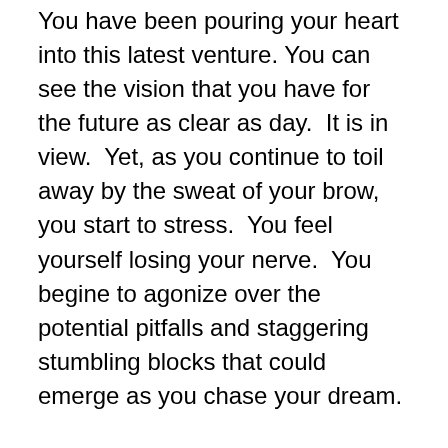You have been pouring your heart into this latest venture. You can see the vision that you have for the future as clear as day. It is in view. Yet, as you continue to toil away by the sweat of your brow, you start to stress. You feel yourself losing your nerve. You begine to agonize over the potential pitfalls and staggering stumbling blocks that could emerge as you chase your dream.
That's common. You are just like many other entrepreneurs who fail to walk down beaten path. Yes, it is common, but it far from healthy.
The Bible says that all hard work leads to a profit. According to the U.S. Small Business Administration (SBA), that's not necessarily so. The births and deaths of business are measured in what is called "business churn." Business churn amounts to combination of business births